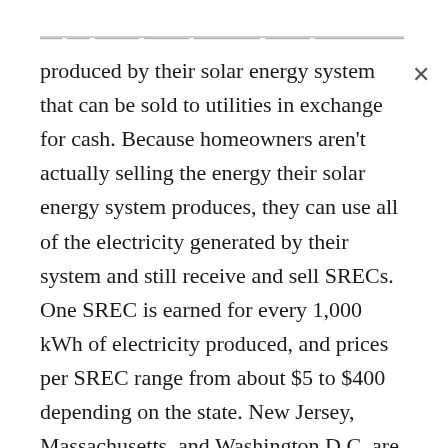... are credits that homeowners can for the energy produced by their solar energy system that can be sold to utilities in exchange for cash. Because homeowners aren't actually selling the energy their solar energy system produces, they can use all of the electricity generated by their system and still receive and sell SRECs. One SREC is earned for every 1,000 kWh of electricity produced, and prices per SREC range from about $5 to $400 depending on the state. New Jersey, Massachusetts, and Washington D.C. are currently the top markets for SRECs.

Homeowners can research incentives available in their